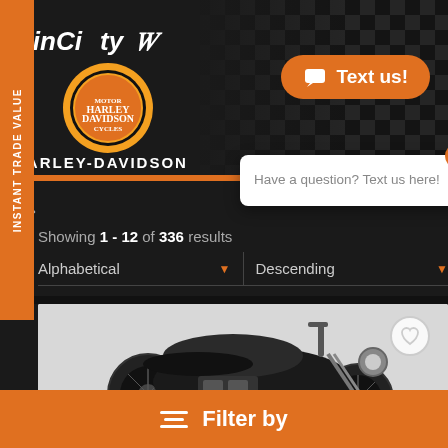[Figure (screenshot): CinCity Harley-Davidson dealership website screenshot showing inventory listing page with motorcycle photo, sort controls, chat popup, and filter bar]
CinCity
HARLEY-DAVIDSON
Text us!
Have a question? Text us here!
Showing 1 - 12 of 336 results
Alphabetical
Descending
INSTANT TRADE VALUE
Filter by